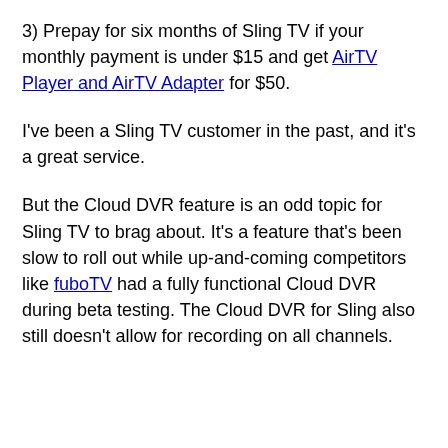3) Prepay for six months of Sling TV if your monthly payment is under $15 and get AirTV Player and AirTV Adapter for $50.
I've been a Sling TV customer in the past, and it's a great service.
But the Cloud DVR feature is an odd topic for Sling TV to brag about. It's a feature that's been slow to roll out while up-and-coming competitors like fuboTV had a fully functional Cloud DVR during beta testing. The Cloud DVR for Sling also still doesn't allow for recording on all channels.